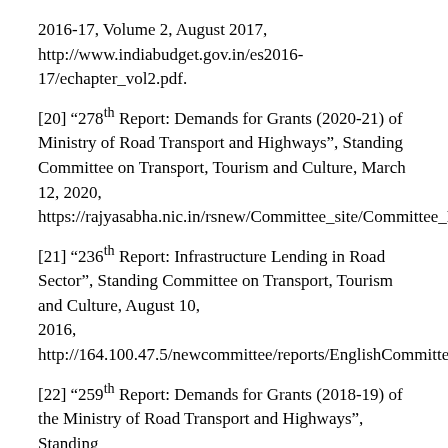2016-17, Volume 2, August 2017, http://www.indiabudget.gov.in/es2016-17/echapter_vol2.pdf.
[20] “278th Report: Demands for Grants (2020-21) of Ministry of Road Transport and Highways”, Standing Committee on Transport, Tourism and Culture, March 12, 2020, https://rajyasabha.nic.in/rsnew/Committee_site/Committee_File/ReportFile/20/127/278_2020_9_15.pdf.
[21] “236th Report: Infrastructure Lending in Road Sector”, Standing Committee on Transport, Tourism and Culture, August 10, 2016, http://164.100.47.5/newcommittee/reports/EnglishCommittees/Committee%20on%20Transport,%20Tourism%20and%20Culture/236.pdf.
[22] “259th Report: Demands for Grants (2018-19) of the Ministry of Road Transport and Highways”, Standing